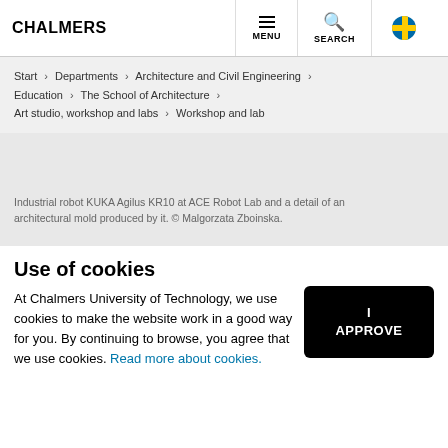CHALMERS — MENU — SEARCH
Start > Departments > Architecture and Civil Engineering > Education > The School of Architecture > Art studio, workshop and labs > Workshop and lab
Industrial robot KUKA Agilus KR10 at ACE Robot Lab and a detail of an architectural mold produced by it. © Malgorzata Zboinska.
Use of cookies
At Chalmers University of Technology, we use cookies to make the website work in a good way for you. By continuing to browse, you agree that we use cookies. Read more about cookies.